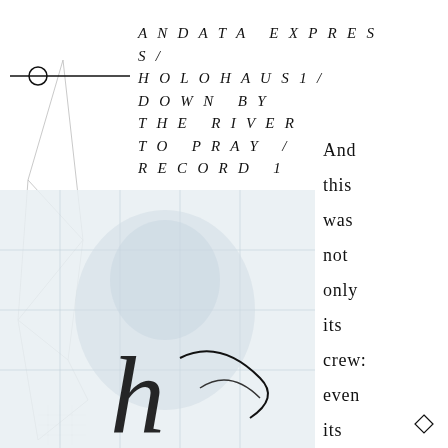[Figure (illustration): Geometric line art with triangles and angular shapes on left side, plus a horizontal line with circle. Background faded photo of a figure/heart-like image in center-left. Large decorative calligraphic character bottom right.]
ANDATA EXPRESS/ HOLOHAUS1/ DOWN BY THE RIVER TO PRAY / RECORD 1
And this was not only its crew: even its executive